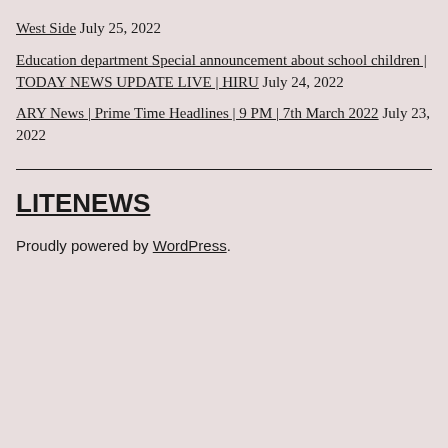West Side July 25, 2022
Education department Special announcement about school children | TODAY NEWS UPDATE LIVE | HIRU July 24, 2022
ARY News | Prime Time Headlines | 9 PM | 7th March 2022 July 23, 2022
LITENEWS
Proudly powered by WordPress.